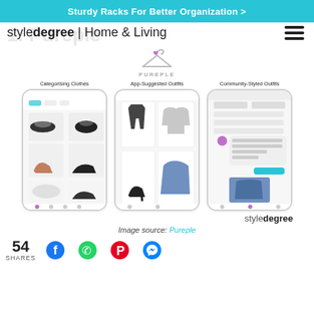Sturdy Racks For Better Organization >
styledegree | Home & Living
[Figure (screenshot): Three smartphone screenshots showing the Pureple app: Categorising Clothes, App-Suggested Outfits, Community-Styled Outfits. Above them is the Pureple logo (hanger with heart).]
Image source: Pureple
54 SHARES
[Figure (infographic): Social sharing icons: Facebook, WhatsApp, Pinterest, Messenger]